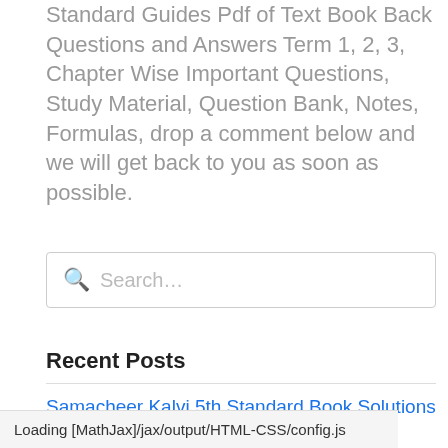Standard Guides Pdf of Text Book Back Questions and Answers Term 1, 2, 3, Chapter Wise Important Questions, Study Material, Question Bank, Notes, Formulas, drop a comment below and we will get back to you as soon as possible.
[Figure (other): Search input box with magnifying glass icon and placeholder text 'Search...']
Recent Posts
Samacheer Kalvi 5th Standard Book Solutions Guide
Loading [MathJax]/jax/output/HTML-CSS/config.js